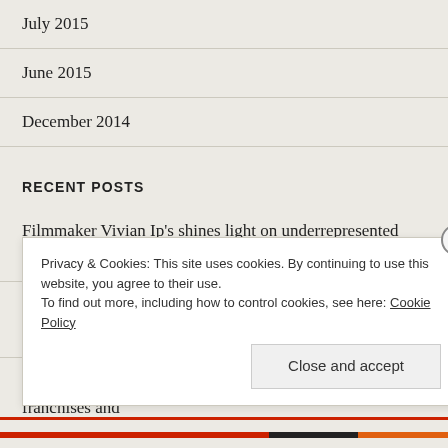July 2015
June 2015
December 2014
RECENT POSTS
Filmmaker Vivian Ip's shines light on underrepresented stories
French Publicist Caroline Maréchal Brings Silver Screen Creativity to Public Relations
Rose Wardle on new series 'Auditions', blockbuster franchises and
Privacy & Cookies: This site uses cookies. By continuing to use this website, you agree to their use. To find out more, including how to control cookies, see here: Cookie Policy
Close and accept